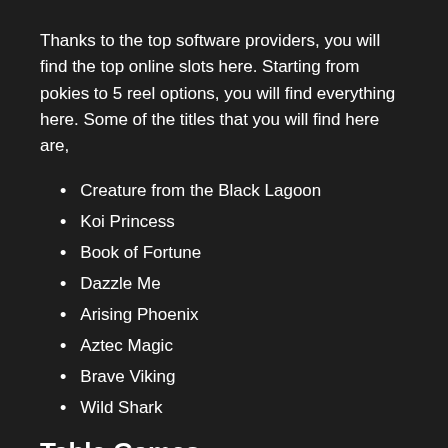Thanks to the top software providers, you will find the top online slots here. Starting from pokies to 5 reel options, you will find everything here. Some of the titles that you will find here are,
Creature from the Black Lagoon
Koi Princess
Book of Fortune
Dazzle Me
Arising Phoenix
Aztec Magic
Brave Viking
Wild Shark
Table Games
If you love table games, you are not going to be disappointed.